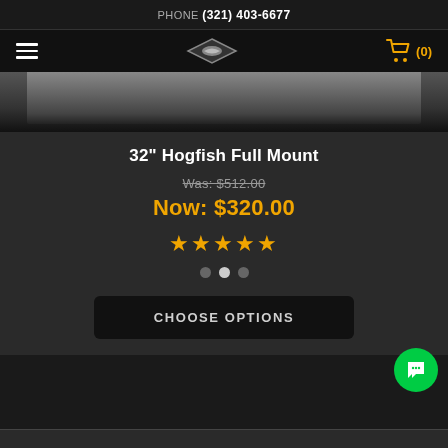PHONE (321) 403-6677
[Figure (screenshot): Navigation bar with hamburger menu, fish logo, and shopping cart icon showing (0)]
[Figure (photo): Partial product photo of a fish mount, blurred/cropped at top]
32" Hogfish Full Mount
Was: $512.00
Now: $320.00
[Figure (illustration): 5 gold star rating]
CHOOSE OPTIONS